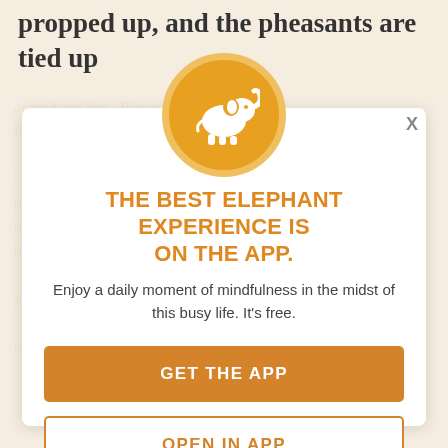propped up, and the pheasants are tied up
around our feet. Rip curls up in his kennel, licking at his paws...
[Figure (logo): Orange circle with white elephant silhouette icon]
THE BEST ELEPHANT EXPERIENCE IS ON THE APP.
Enjoy a daily moment of mindfulness in the midst of this busy life. It's free.
GET THE APP
OPEN IN APP